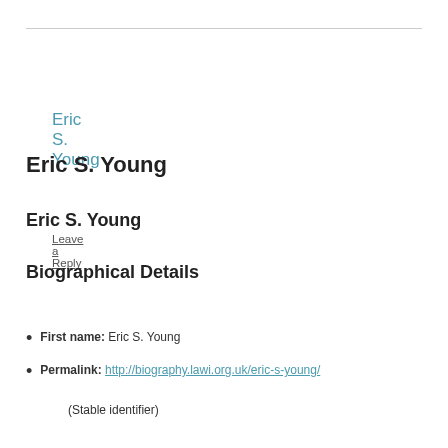Eric S. Young
Leave a Reply
Eric S. Young
Eric S. Young
Biographical Details
First name: Eric S. Young
Permalink: http://biography.lawi.org.uk/eric-s-young/ (Stable identifier)